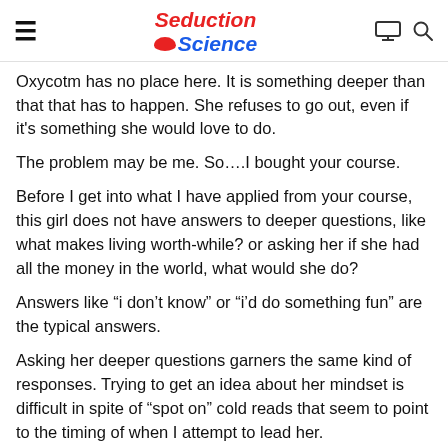Seduction Science
Oxycotm has no place here. It is something deeper than that that has to happen. She refuses to go out, even if it’s something she would love to do.
The problem may be me. So….I bought your course.
Before I get into what I have applied from your course, this girl does not have answers to deeper questions, like what makes living worth-while? or asking her if she had all the money in the world, what would she do?
Answers like “i don’t know” or “i’d do something fun” are the typical answers.
Asking her deeper questions garners the same kind of responses. Trying to get an idea about her mindset is difficult in spite of “spot on” cold reads that seem to point to the timing of when I attempt to lead her.